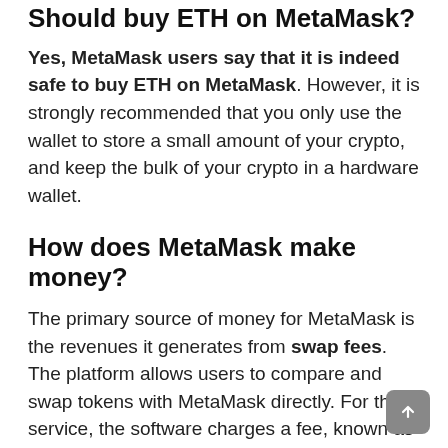Should buy ETH on MetaMask?
Yes, MetaMask users say that it is indeed safe to buy ETH on MetaMask. However, it is strongly recommended that you only use the wallet to store a small amount of your crypto, and keep the bulk of your crypto in a hardware wallet.
How does MetaMask make money?
The primary source of money for MetaMask is the revenues it generates from swap fees. The platform allows users to compare and swap tokens with MetaMask directly. For this service, the software charges a fee, known as swap fees.